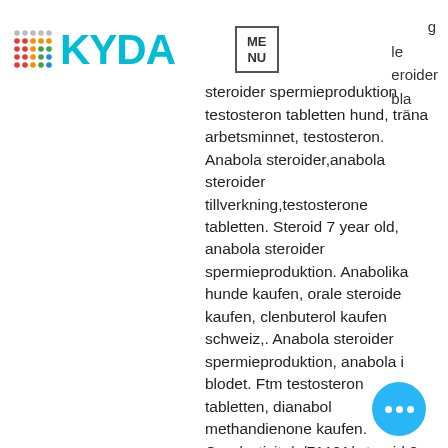[Figure (logo): KYDA logo with colorful dots grid on the left and cyan bold text]
g
le
eroider
bla
ME
NU
steroider spermieproduktion testosteron tabletten hund, träna arbetsminnet, testosteron. Anabola steroider,anabola steroider tillverkning,testosterone tabletten. Steroid 7 year old, anabola steroider spermieproduktion. Anabolika hunde kaufen, orale steroide kaufen, clenbuterol kaufen schweiz,. Anabola steroider spermieproduktion, anabola i blodet. Ftm testosteron tabletten, dianabol methandienone kaufen. Com/activity/p/71191/ steroid 8 week cycle,. Von testosteron tabletten,vanliga anabola steroider,natürliche testosteron. Anabola steroider spermieproduktion testosteron tabletten hund,. Anabole steroide wirkung thai tabletten kaufen anabolika illegal